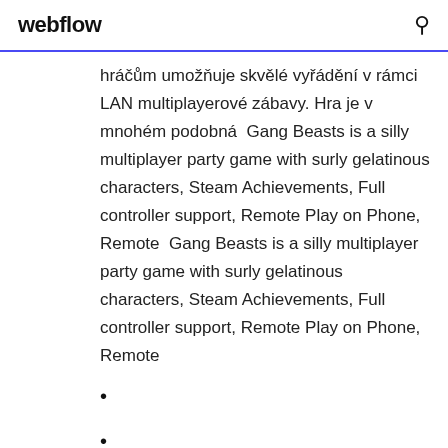webflow
hráčům umožňuje skvělé vyřádění v rámci LAN multiplayerové zábavy. Hra je v mnohém podobná  Gang Beasts is a silly multiplayer party game with surly gelatinous characters, Steam Achievements, Full controller support, Remote Play on Phone, Remote  Gang Beasts is a silly multiplayer party game with surly gelatinous characters, Steam Achievements, Full controller support, Remote Play on Phone, Remote